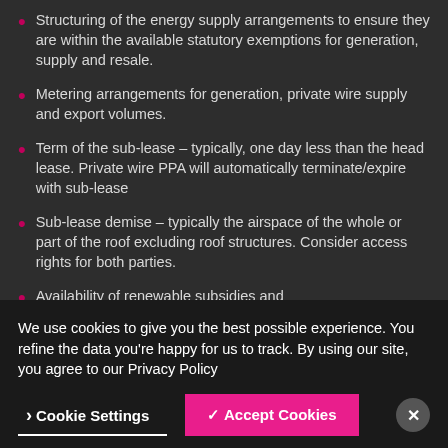Structuring of the energy supply arrangements to ensure they are within the available statutory exemptions for generation, supply and resale.
Metering arrangements for generation, private wire supply and export volumes.
Term of the sub-lease – typically, one day less than the head lease. Private wire PPA will automatically terminate/expire with sub-lease
Sub-lease demise – typically the airspace of the whole or part of the roof excluding roof structures. Consider access rights for both parties.
Availability of renewable subsidies and
We use cookies to give you the best possible experience. You refine the data you're happy for us to track. By using our site, you agree to our Privacy Policy